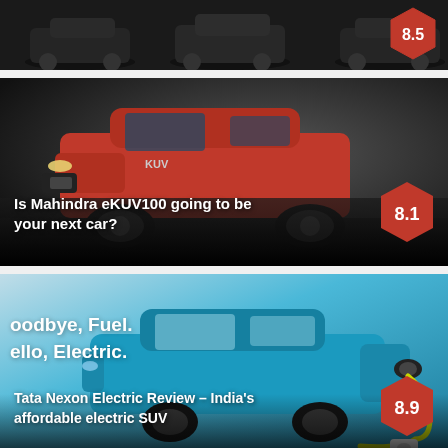[Figure (photo): Top strip showing dark background with cars partially visible, rating badge with score cut off]
[Figure (photo): Mahindra eKUV100 red SUV on dark background]
Is Mahindra eKUV100 going to be your next car?
[Figure (photo): Tata Nexon Electric teal car being charged, with text overlay: oodbye, Fuel. ello, Electric.]
Tata Nexon Electric Review – India's affordable electric SUV